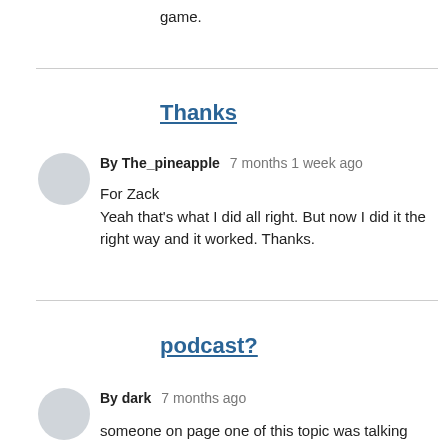game.
Thanks
By The_pineapple   7 months 1 week ago
For Zack
Yeah that's what I did all right. But now I did it the right way and it worked. Thanks.
podcast?
By dark   7 months ago
someone on page one of this topic was talking